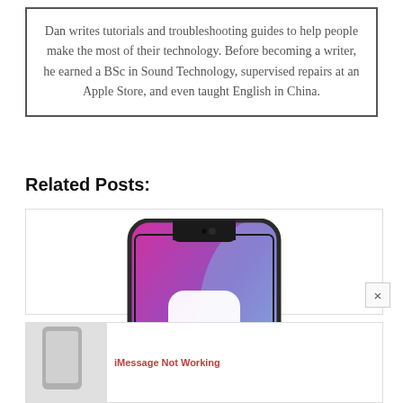Dan writes tutorials and troubleshooting guides to help people make the most of their technology. Before becoming a writer, he earned a BSc in Sound Technology, supervised repairs at an Apple Store, and even taught English in China.
Related Posts:
[Figure (photo): iPhone X with iOS 13 logo shown on screen, colorful gradient background]
iOS 13 or iPadOS problems and how to fix them -...
[Figure (screenshot): Partial thumbnail of a second related post about iMessage Not Working]